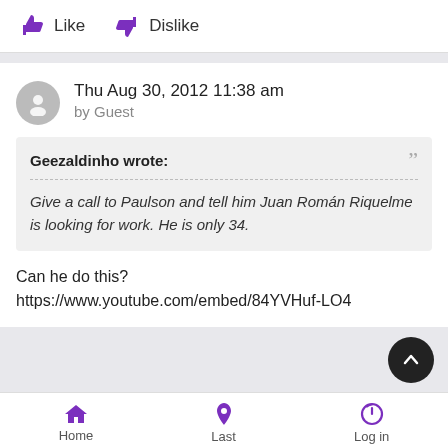Like  Dislike
Thu Aug 30, 2012 11:38 am
by Guest
Geezaldinho wrote:
Give a call to Paulson and tell him Juan Román Riquelme is looking for work. He is only 34.
Can he do this? https://www.youtube.com/embed/84YVHuf-LO4
Home  Last  Log in